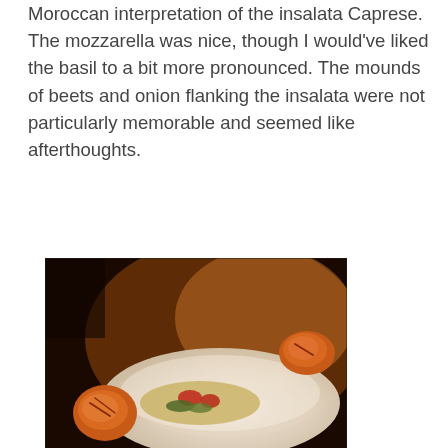Moroccan interpretation of the insalata Caprese. The mozzarella was nice, though I would've liked the basil to a bit more pronounced. The mounds of beets and onion flanking the insalata were not particularly memorable and seemed like afterthoughts.
[Figure (photo): Photo of a plated dish with grilled shrimp served on a white elongated plate with hummus, cucumber and tomato salad, photographed in warm dim restaurant lighting.]
2: Marinated Grilled Shrimp
Served with hummus, cucumber and tomato salad. Interestingly enough, according to the menu, this was supposed to be a course of grilled chicken; I guess they ran out? I'm not complaining, since this ended up as my second favorite course of the night. The shrimp were nicely flavored